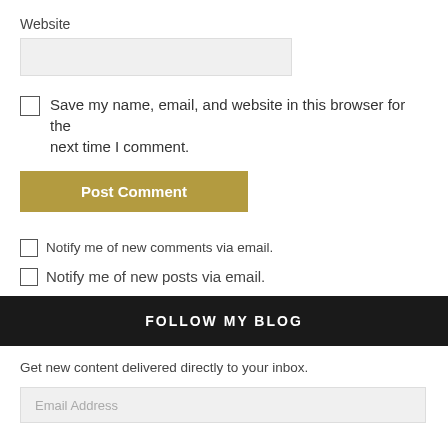Website
Save my name, email, and website in this browser for the next time I comment.
Post Comment
Notify me of new comments via email.
Notify me of new posts via email.
FOLLOW MY BLOG
Get new content delivered directly to your inbox.
Email Address